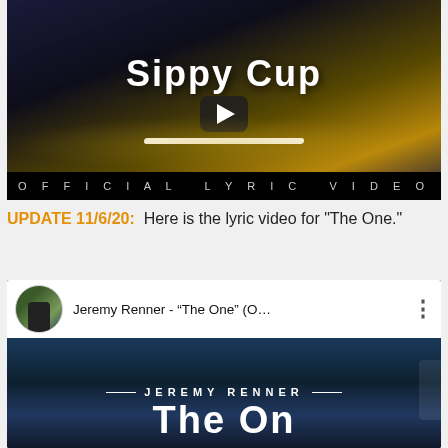[Figure (screenshot): YouTube thumbnail for 'Sippy Cup' Official Lyric Video with gold sparkle background and play button overlay]
UPDATE 11/6/20:  Here is the lyric video for "The One."
[Figure (screenshot): YouTube video thumbnail for Jeremy Renner - 'The One' (Official Lyric Video) showing the video player interface with avatar, title, and blue sky background with 'JEREMY RENNER' and 'The One' text]